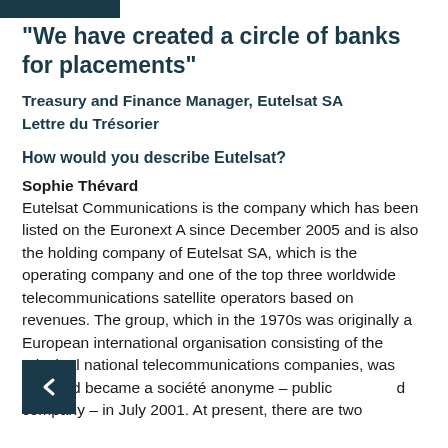“We have created a circle of banks for placements”
Treasury and Finance Manager, Eutelsat SA
Lettre du Trésorier
How would you describe Eutelsat?
Sophie Thévard
Eutelsat Communications is the company which has been listed on the Euronext A since December 2005 and is also the holding company of Eutelsat SA, which is the operating company and one of the top three worldwide telecommunications satellite operators based on revenues. The group, which in the 1970s was originally a European international organisation consisting of the principal national telecommunications companies, was privatised and became a société anonyme – public limited company – in July 2001. At present, there are two large shareholders, the Caisse des Dépôts et Consignations